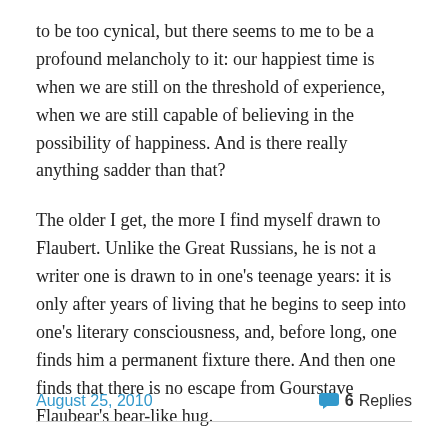to be too cynical, but there seems to me to be a profound melancholy to it: our happiest time is when we are still on the threshold of experience, when we are still capable of believing in the possibility of happiness. And is there really anything sadder than that?
The older I get, the more I find myself drawn to Flaubert. Unlike the Great Russians, he is not a writer one is drawn to in one's teenage years: it is only after years of living that he begins to seep into one's literary consciousness, and, before long, one finds him a permanent fixture there. And then one finds that there is no escape from Gourstave Flaubear's bear-like hug.
August 25, 2010
6 Replies